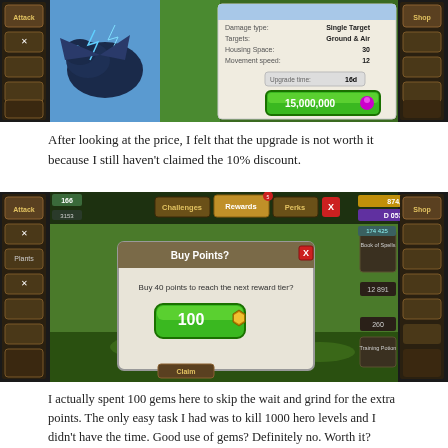[Figure (screenshot): Clash of Clans game screenshot showing dragon unit info with upgrade cost of 15,000,000 elixir and upgrade time of 16d, stats: Single Target, Ground & Air, Housing Space 30, Movement Speed 12]
After looking at the price, I felt that the upgrade is not worth it because I still haven't claimed the 10% discount.
[Figure (screenshot): Clash of Clans screenshot showing 'Buy Points?' dialog asking to buy 40 points to reach next reward tier, with button showing cost of 100 gems]
I actually spent 100 gems here to skip the wait and grind for the extra points. The only easy task I had was to kill 1000 hero levels and I didn't have the time. Good use of gems? Definitely no. Worth it? Borderline.